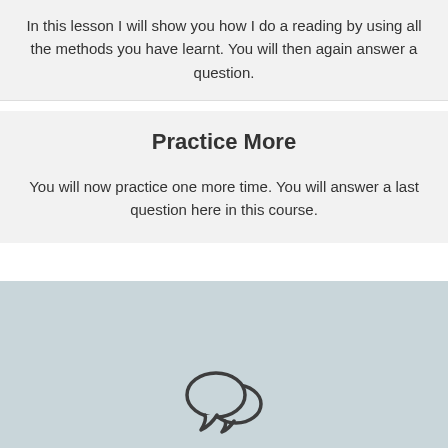In this lesson I will show you how I do a reading by using all the methods you have learnt. You will then again answer a question.
Practice More
You will now practice one more time. You will answer a last question here in this course.
[Figure (illustration): Chat bubble icon — two overlapping speech bubbles in dark grey outline style]
Thank you for your Feedback